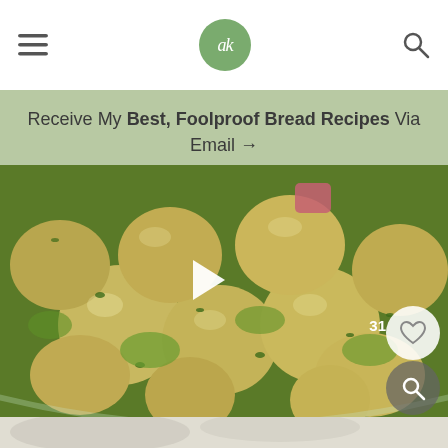ak (logo) — navigation bar with hamburger menu and search icon
Receive My Best, Foolproof Bread Recipes Via Email →
[Figure (photo): Close-up photo of chickpeas in green herb sauce (chimichurri or pesto) in a glass bowl, with a video play button overlay, a heart/like button showing count 31, and a search magnifier button]
[Figure (photo): Partial bottom image of a light-colored food dish, partially cropped]